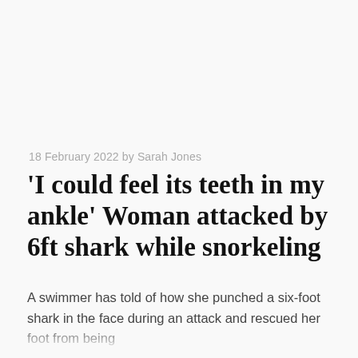18 February 2022 by Sarah Jones
'I could feel its teeth in my ankle' Woman attacked by 6ft shark while snorkeling
A swimmer has told of how she punched a six-foot shark in the face during an attack and rescued her foot from being